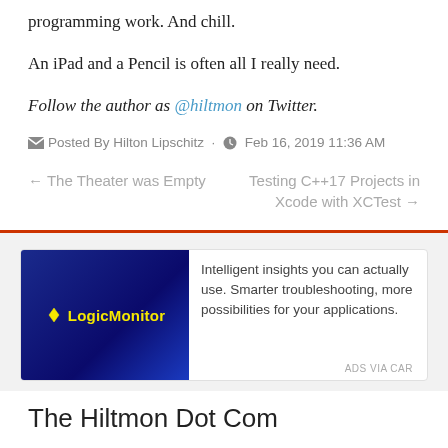programming work. And chill.
An iPad and a Pencil is often all I really need.
Follow the author as @hiltmon on Twitter.
Posted By Hilton Lipschitz · Feb 16, 2019 11:36 AM
← The Theater was Empty
Testing C++17 Projects in Xcode with XCTest →
[Figure (logo): LogicMonitor advertisement with blue background and yellow logo text. Ad text: Intelligent insights you can actually use. Smarter troubleshooting, more possibilities for your applications. ADS VIA CAR]
The Hiltmon Dot Com